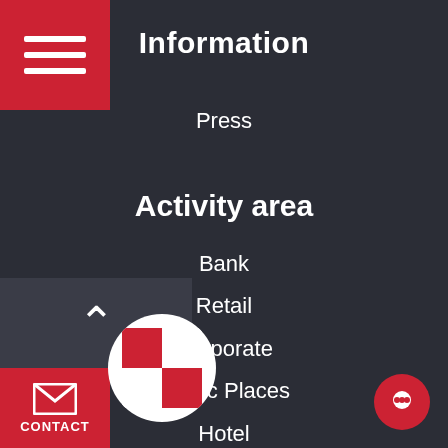[Figure (logo): Red hamburger menu icon on red square background, top-left corner]
Information
Press
Activity area
Bank
Retail
Corporate
Public Places
Hotel
Restauration
Real Estate
Education
HealthCare
[Figure (logo): White circle with red cross/checker logo at bottom-left]
[Figure (logo): Red circle chat button at bottom-right]
CONTACT